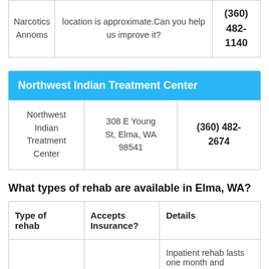| Name | Location Note | Phone |
| --- | --- | --- |
| Narcotics Annoms | location is approximate.Can you help us improve it? | (360) 482-1140 |
Northwest Indian Treatment Center
| Name | Address | Phone |
| --- | --- | --- |
| Northwest Indian Treatment Center | 308 E Young St, Elma, WA 98541 | (360) 482-2674 |
What types of rehab are available in Elma, WA?
| Type of rehab | Accepts Insurance? | Details |
| --- | --- | --- |
|  |  | Inpatient rehab lasts one month and |